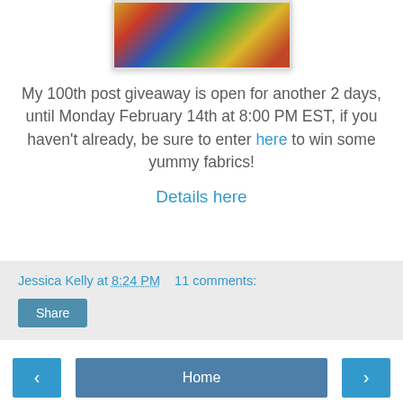[Figure (photo): Photo of colorful patchwork/quilted pillows on a brown couch, partially cropped at top]
My 100th post giveaway is open for another 2 days, until Monday February 14th at 8:00 PM EST, if you haven't already, be sure to enter here to win some yummy fabrics!
Details here
Jessica Kelly at 8:24 PM   11 comments:
Share
Home
View web version